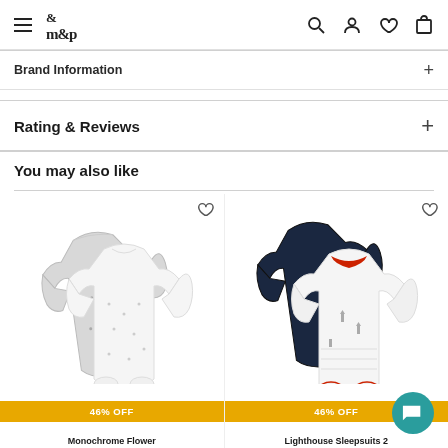m&p — navigation header with hamburger menu, logo, search, account, wishlist, and cart icons
Brand Information
Rating & Reviews
You may also like
[Figure (photo): Two baby sleepsuits overlapping, white with floral monochrome print, with a heart wishlist icon]
[Figure (photo): Two baby sleepsuits overlapping, one navy blue and one white with red trim and lighthouse print, with a heart wishlist icon]
46% OFF
46% OFF
Monochrome Flower
Lighthouse Sleepsuits 2